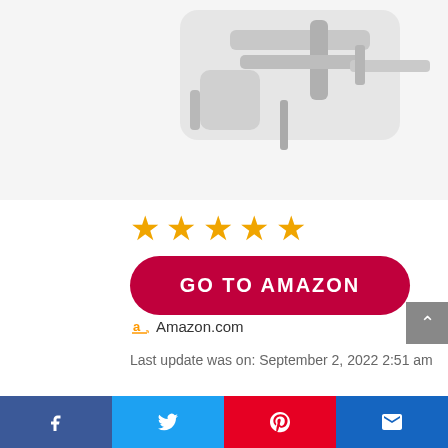[Figure (photo): Partial product photo of a highchair hook/clamp mechanism, gray metal hardware on white background]
[Figure (other): Five orange star rating icons]
GO TO AMAZON
Amazon.com
Last update was on: September 2, 2022 2:51 am
How Thick Your Table Is: The hook on highchair he
Social share bar with Facebook, Twitter, Pinterest, Email buttons